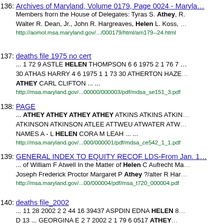136: Archives of Maryland, Volume 0179, Page 0024 - Maryland... Members from the House of Delegates: Tyras S. Athey, R. Walter R. Dean, Jr., John R. Hargreaves, Helen L. Koss, ... http://aomol.msa.maryland.gov/.../000179/html/am179--24.html
137: deaths file 1975 no cert ... 1 72 9 ASTLE HELEN THOMPSON 6 6 1975 2 1 76 7 ... 30 ATHAS HARRY 4 6 1975 1 1 73 30 ATHERTON HAZE... ATHEY CARL CLIFTON ... ... http://msa.maryland.gov/...00000/000003/pdf/mdsa_se151_3.pdf
138: PAGE ... ATHEY ATHEY ATHEY ATHEY ATKINS ATKINS ATKIN... ATKINSON ATKINSON ATLEE ATTWEU ATWATER ATW... NAMES A - L HELEN CORA M LEAH ... ... http://msa.maryland.gov/...000/000001/pdf/mdsa_ce542_1_1.pdf
139: GENERAL INDEX TO EQUITY RECOF LDS-From Jan. 1... ... of William F Atwell In the Matter of Helen C Aufrecht M... Joseph Frederick Proctor Margaret P Athey ?/alter R Har... http://msa.maryland.gov/...00/000004/pdf/msa_t720_000004.pdf
140: deaths file_2002 ... 11 28 2002 2 2 44 16 39437 ASPDIN EDNA HELEN 8... D 13 ... GEORGINA E 2 7 2002 2 1 79 6 0517 ATHEY ...